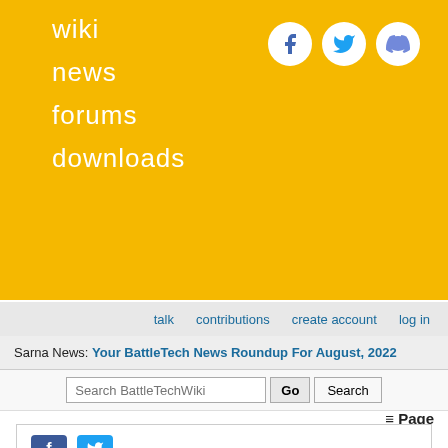wiki
news
forums
downloads
talk  contributions  create account  log in
Sarna News: Your BattleTech News Roundup For August, 2022
Search BattleTechWiki  Go  Search
≡ Page
Hyper-Assault Gauss Rifle 40
(Redirected from HAG/40)
[Figure (illustration): Partial illustration of a Hyper-Assault Gauss Rifle 40, showing a mechanical weapon component sketch in the lower right]